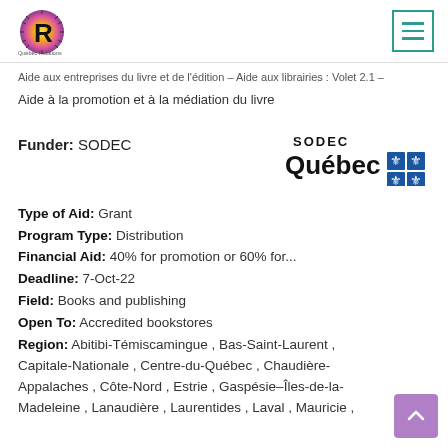Québec Relations logo and navigation hamburger menu
Aide aux entreprises du livre et de l'édition – Aide aux librairies : Volet 2.1 –
Aide à la promotion et à la médiation du livre
Funder: SODEC
[Figure (logo): SODEC Québec logo with fleur-de-lis symbols]
Type of Aid: Grant
Program Type: Distribution
Financial Aid: 40% for promotion or 60% for...
Deadline: 7-Oct-22
Field: Books and publishing
Open To: Accredited bookstores
Region: Abitibi-Témiscamingue , Bas-Saint-Laurent , Capitale-Nationale , Centre-du-Québec , Chaudière-Appalaches , Côte-Nord , Estrie , Gaspésie–Îles-de-la-Madeleine , Lanaudière , Laurentides , Laval , Mauricie ,